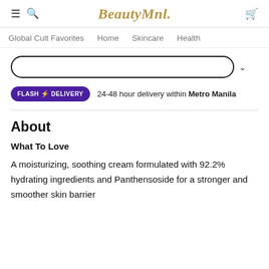BeautyMnl.
Global Cult Favorites   Home   Skincare   Health
[Figure (other): Rounded rectangle dropdown selector with a chevron/arrow on the right]
FLASH ⚡ DELIVERY   24-48 hour delivery within Metro Manila
About
What To Love
A moisturizing, soothing cream formulated with 92.2% hydrating ingredients and Panthensoside for a stronger and smoother skin barrier